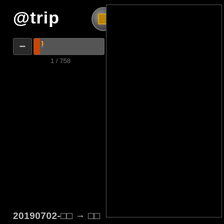@trip
[Figure (screenshot): App icon button - circular gray button with a brown/orange square icon in the center]
[Figure (screenshot): Media player controls: minus button, person/walker icon, progress slider (at beginning), plus button]
1 / 758
[Figure (screenshot): Large black rectangular panel with gray border on the right side of the screen]
20190702-□□ → □□